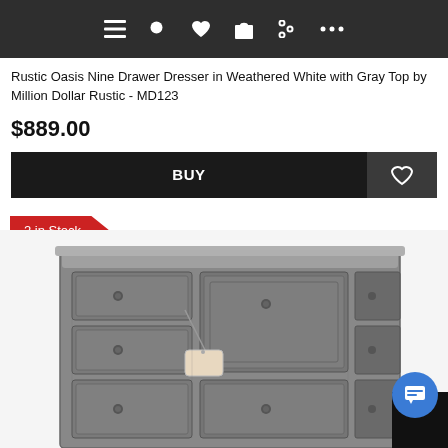Navigation bar with menu, search, wishlist, cart, filter, and more icons
Rustic Oasis Nine Drawer Dresser in Weathered White with Gray Top by Million Dollar Rustic - MD123
$889.00
BUY
2 in Stock
[Figure (photo): Photo of a rustic nine-drawer dresser in weathered gray/white finish with decorative panel fronts and round knob pulls, shown at an angle with a price tag hanging from one drawer]